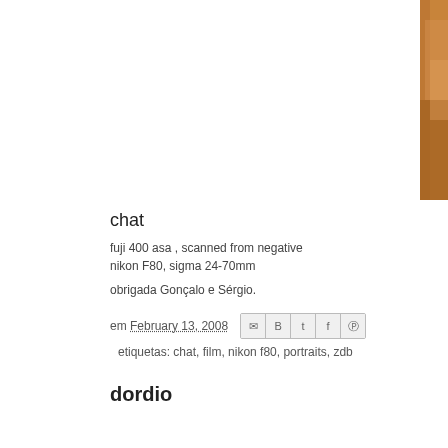[Figure (photo): Partial photo visible on the right side of the page, showing warm brown/orange tones, likely a portrait]
chat
fuji 400 asa , scanned from negative
nikon F80, sigma 24-70mm
obrigada Gonçalo e Sérgio.
em February 13, 2008
etiquetas: chat, film, nikon f80, portraits, zdb
dordio